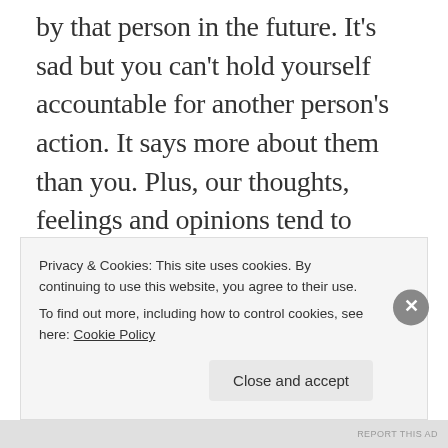by that person in the future. It's sad but you can't hold yourself accountable for another person's action. It says more about them than you. Plus, our thoughts, feelings and opinions tend to change over time. You can't blame the other person for changing because we all change as a person constantly. Since this pandemic brings so much uncertainty, it's completely normal to change so it's better to be honest with one another.
Privacy & Cookies: This site uses cookies. By continuing to use this website, you agree to their use. To find out more, including how to control cookies, see here: Cookie Policy
REPORT THIS AD